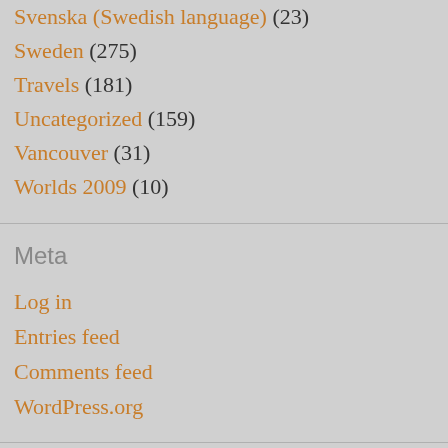Svenska (Swedish language) (23)
Sweden (275)
Travels (181)
Uncategorized (159)
Vancouver (31)
Worlds 2009 (10)
Meta
Log in
Entries feed
Comments feed
WordPress.org
Search …